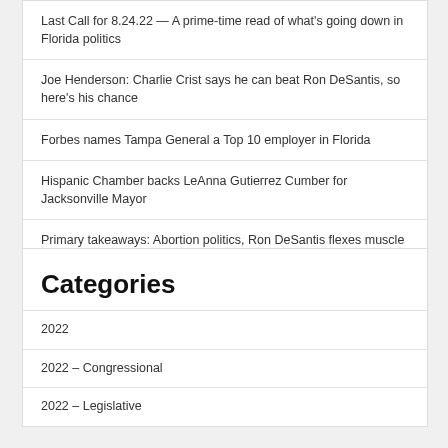Last Call for 8.24.22 — A prime-time read of what's going down in Florida politics
Joe Henderson: Charlie Crist says he can beat Ron DeSantis, so here's his chance
Forbes names Tampa General a Top 10 employer in Florida
Hispanic Chamber backs LeAnna Gutierrez Cumber for Jacksonville Mayor
Primary takeaways: Abortion politics, Ron DeSantis flexes muscle
Categories
2022
2022 – Congressional
2022 – Legislative